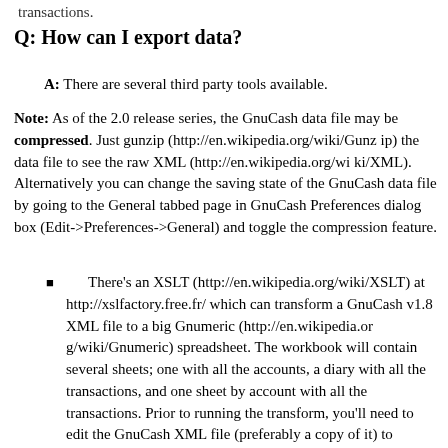transactions.
Q: How can I export data?
A: There are several third party tools available.
Note: As of the 2.0 release series, the GnuCash data file may be compressed. Just gunzip (http://en.wikipedia.org/wiki/Gunzip) the data file to see the raw XML (http://en.wikipedia.org/wiki/XML). Alternatively you can change the saving state of the GnuCash data file by going to the General tabbed page in GnuCash Preferences dialog box (Edit->Preferences->General) and toggle the compression feature.
There's an XSLT (http://en.wikipedia.org/wiki/XSLT) at http://xslfactory.free.fr/ which can transform a GnuCash v1.8 XML file to a big Gnumeric (http://en.wikipedia.org/wiki/Gnumeric) spreadsheet. The workbook will contain several sheets; one with all the accounts, a diary with all the transactions, and one sheet by account with all the transactions. Prior to running the transform, you'll need to edit the GnuCash XML file (preferably a copy of it) to include xmlns data. (Note however that as at 24th Apr '04 it doesn't include support for business objects, eg: invoices.)